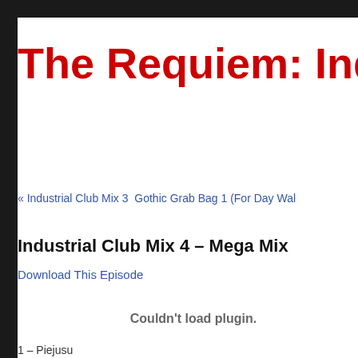The Requiem: Industria
« Industrial Club Mix 3  Gothic Grab Bag 1 (For Day Wal
Industrial Club Mix 4 – Mega Mix
Download This Episode
Couldn't load plugin.
1 – Piejusu